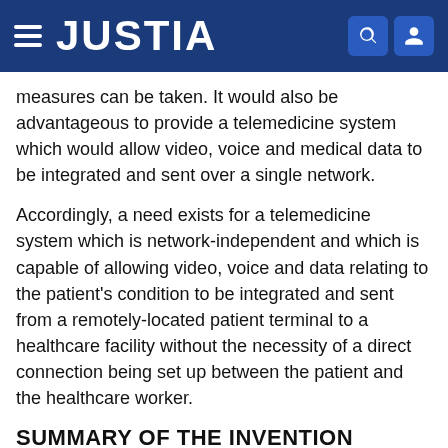JUSTIA
measures can be taken. It would also be advantageous to provide a telemedicine system which would allow video, voice and medical data to be integrated and sent over a single network.
Accordingly, a need exists for a telemedicine system which is network-independent and which is capable of allowing video, voice and data relating to the patient's condition to be integrated and sent from a remotely-located patient terminal to a healthcare facility without the necessity of a direct connection being set up between the patient and the healthcare worker.
SUMMARY OF THE INVENTION
The present invention provides a packet-based telemedicine system for communicating video, voice and